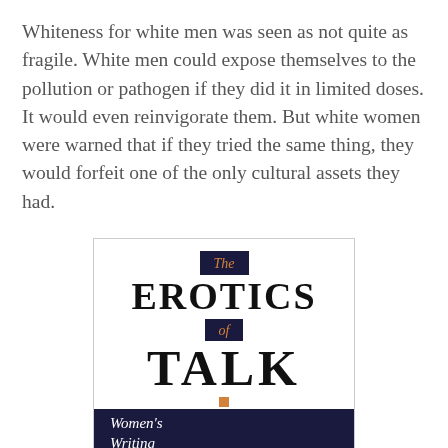Whiteness for white men was seen as not quite as fragile. White men could expose themselves to the pollution or pathogen if they did it in limited doses. It would even reinvigorate them. But white women were warned that if they tried the same thing, they would forfeit one of the only cultural assets they had.
[Figure (photo): Book cover of 'The Erotics of Talk: Women's Writing and...' showing the title in large serif text on a white background with dark navy banner, and a dark photographic panel at the bottom with italic subtitle text and hands visible.]